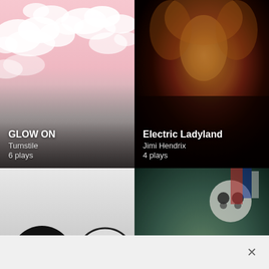[Figure (screenshot): Music app grid showing 4 album covers: GLOW ON by Turnstile (6 plays), Electric Ladyland by Jimi Hendrix (4 plays), White Pony 20th Anniversary Deluxe Edition, and Person Pitch]
GLOW ON – Turnstile – 6 plays
Electric Ladyland – Jimi Hendrix – 4 plays
White Pony (20th Anniversary Deluxe Edition)
Person Pitch